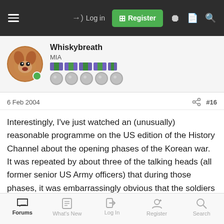Log in | Register
Whiskybreath
MIA
6 Feb 2004
#16
Interestingly, I've just watched an (unusually) reasonable programme on the US edition of the History Channel about the opening phases of the Korean war. It was repeated by about three of the talking heads (all former senior US Army officers) that during those phases, it was embarrassingly obvious that the soldiers and their officers had become, since WW2, so used to being trucked about the exercise area instead of forced marching, were so used to being lectured on the rights of man (or whatever) instead of being told what to do when the machine gun jammed, and were so
Forums | What's New | Log In | Register | Search